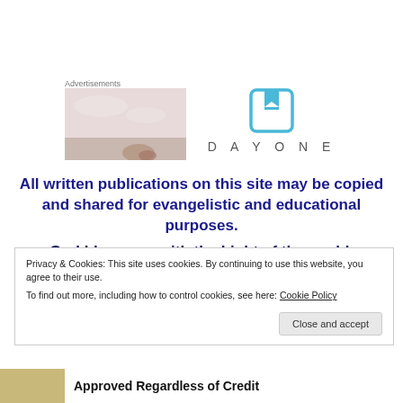Advertisements
[Figure (photo): Advertisement image placeholder - pale pink/grey background with small object at bottom]
[Figure (logo): Day One app logo - blue bookmark icon above text DAYONE in spaced grey letters]
All written publications on this site may be copied and shared for evangelistic and educational purposes.
God bless you with the Light of the world.
Privacy & Cookies: This site uses cookies. By continuing to use this website, you agree to their use.
To find out more, including how to control cookies, see here: Cookie Policy
Close and accept
Approved Regardless of Credit